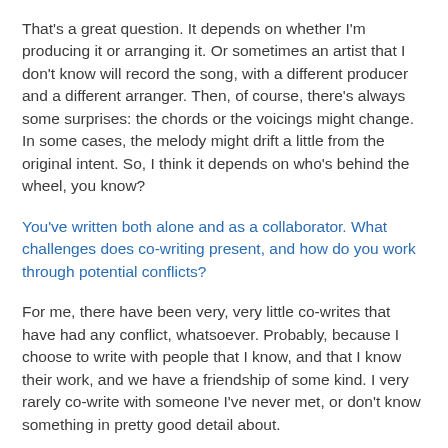That's a great question. It depends on whether I'm producing it or arranging it. Or sometimes an artist that I don't know will record the song, with a different producer and a different arranger. Then, of course, there's always some surprises: the chords or the voicings might change. In some cases, the melody might drift a little from the original intent. So, I think it depends on who's behind the wheel, you know?
You've written both alone and as a collaborator. What challenges does co-writing present, and how do you work through potential conflicts?
For me, there have been very, very little co-writes that have had any conflict, whatsoever. Probably, because I choose to write with people that I know, and that I know their work, and we have a friendship of some kind. I very rarely co-write with someone I've never met, or don't know something in pretty good detail about.
Has there ever been a time when a performer has taken one of